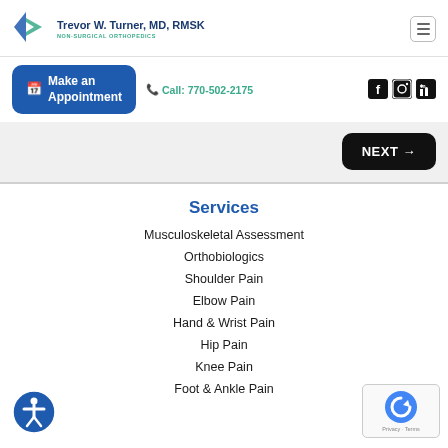[Figure (logo): Trevor W. Turner MD RMSK non-surgical orthopedics logo with blue figure icon]
Trevor W. Turner, MD, RMSK
NON-SURGICAL ORTHOPEDICS
[Figure (other): Hamburger menu icon]
Make an Appointment
Call: 770-502-2175
[Figure (other): Facebook, Instagram, LinkedIn social media icons]
NEXT →
Services
Musculoskeletal Assessment
Orthobiologics
Shoulder Pain
Elbow Pain
Hand & Wrist Pain
Hip Pain
Knee Pain
Foot & Ankle Pain
[Figure (other): Accessibility icon - blue circle with person figure]
[Figure (other): Google reCAPTCHA Privacy Terms badge]